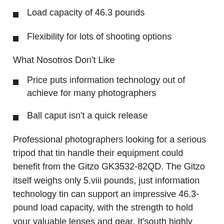Load capacity of 46.3 pounds
Flexibility for lots of shooting options
What Nosotros Don't Like
Price puts information technology out of achieve for many photographers
Ball caput isn't a quick release
Professional photographers looking for a serious tripod that tin handle their equipment could benefit from the Gitzo GK3532-82QD. The Gitzo itself weighs only 5.viii pounds, just information technology tin can support an impressive 46.3-pound load capacity, with the strength to hold your valuable lenses and gear. It'south highly flexible, with a maximum height of 63.3 inches and a minimum height of 6.3 inches. Carbon exact tubing, modulus carbon cobweb legs, and large leg diameters mean this tripod is stable on flat or uneven footing,